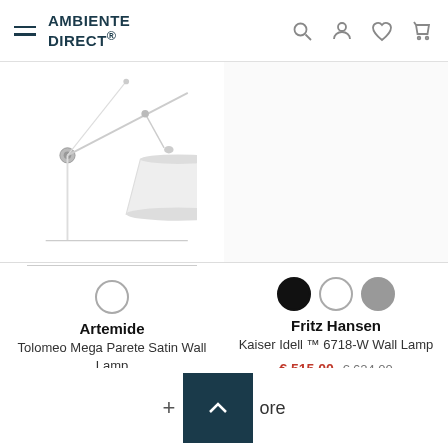AMBIENTE DIRECT®
[Figure (photo): Artemide Tolomeo Mega Parete Satin Wall Lamp product photo — white adjustable wall lamp with articulated arm and conical shade]
Artemide
Tolomeo Mega Parete Satin Wall Lamp
from € 488,75  € 575,00
[Figure (photo): Fritz Hansen Kaiser Idell 6718-W Wall Lamp product image area — empty/white]
Fritz Hansen
Kaiser Idell ™ 6718-W Wall Lamp
€ 515,00  € 624,00